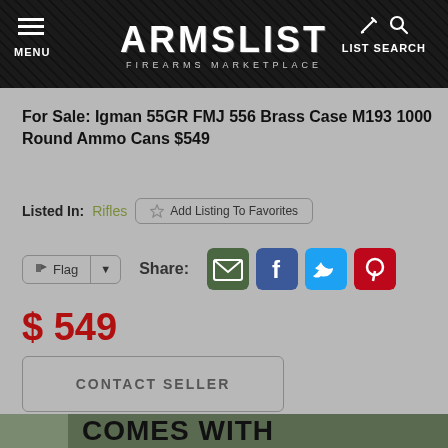ARMSLIST FIREARMS MARKETPLACE
For Sale: Igman 55GR FMJ 556 Brass Case M193 1000 Round Ammo Cans $549
Listed In: Rifles
$ 549
CONTACT SELLER
[Figure (screenshot): Bottom banner showing ammo can image and text 'COMES WITH']